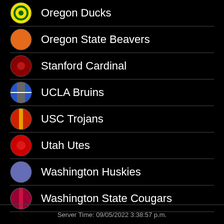Oregon Ducks
Oregon State Beavers
Stanford Cardinal
UCLA Bruins
USC Trojans
Utah Utes
Washington Huskies
Washington State Cougars
Server Time: 09/05/2022 3:38:57 p.m.